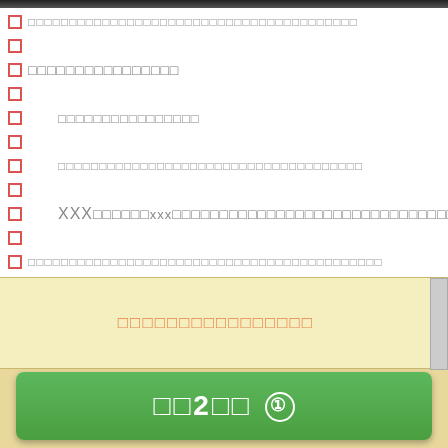□□□□□□□□□□□□□□□□□□□□□□□□□□□□□□
□□□□□□□□□□□□□□□□
□□□□□□□□□□□□□□□□
□□□□□□□□□□□□□□□□□□□□□□□□□□□□□□□□□□
XXX□□□□□□xxx□□□□□□□□□□□□□□□□□□□□□□□□□□□□□□□□
□□□□□□□□□□□□□□□□□□□□□□□□□□□□□□□□□□□□□□□□□□
□□□□□□□□□□□□□□□□
□□2□□①